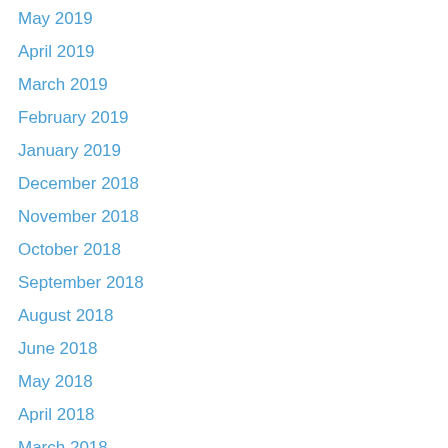May 2019
April 2019
March 2019
February 2019
January 2019
December 2018
November 2018
October 2018
September 2018
August 2018
June 2018
May 2018
April 2018
March 2018
February 2018
January 2018
December 2017
November 2017
October 2017
September 2017